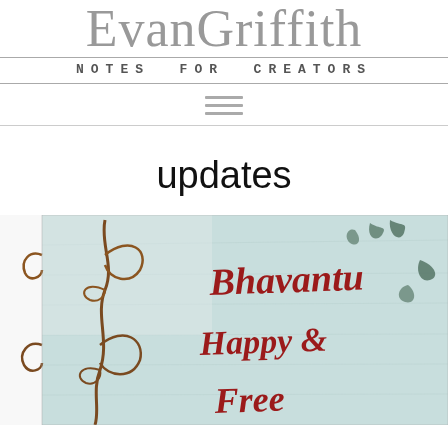EvanGriffith NOTES FOR CREATORS
updates
[Figure (photo): Illuminated manuscript image with decorative vine/scroll on left in brown, and red calligraphic text reading 'Bhavantu Happy & Free' on a pale blue-green background with leaf motifs]